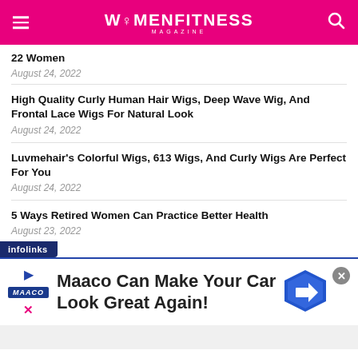WOMENFITNESS MAGAZINE
22 Women
August 24, 2022
High Quality Curly Human Hair Wigs, Deep Wave Wig, And Frontal Lace Wigs For Natural Look
August 24, 2022
Luvmehair's Colorful Wigs, 613 Wigs, And Curly Wigs Are Perfect For You
August 24, 2022
5 Ways Retired Women Can Practice Better Health
August 23, 2022
[Figure (infographic): Infolinks ad banner with Maaco advertisement: 'Maaco Can Make Your Car Look Great Again!' with Maaco logo, play button, close button, and navigation icon]